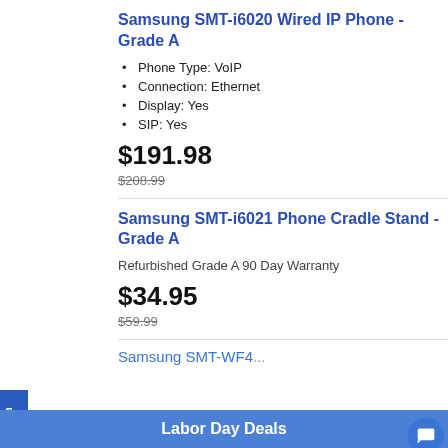Samsung SMT-i6020 Wired IP Phone - Grade A
Phone Type: VoIP
Connection: Ethernet
Display: Yes
SIP: Yes
$191.98
$208.99
Samsung SMT-i6021 Phone Cradle Stand - Grade A
Refurbished Grade A 90 Day Warranty
$34.95
$59.99
Samsung SMT-WF400 Wi...
Sign up!
Labor Day Deals